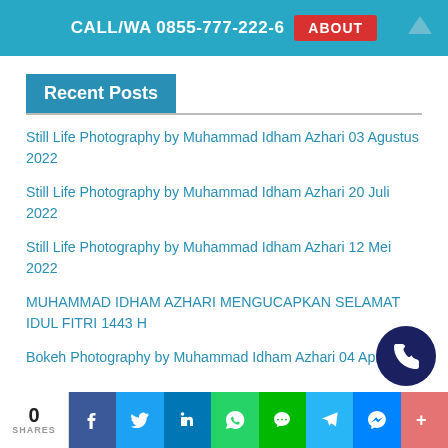CALL/WA 0855-777-222-6 ABOUT
Recent Posts
Still Life Photography by Muhammad Idham Azhari 03 Agustus 2022
Still Life Photography by Muhammad Idham Azhari 20 Juli 2022
Still Life Photography by Muhammad Idham Azhari 12 Mei 2022
MUHAMMAD IDHAM AZHARI MENGUCAPKAN SELAMAT IDUL FITRI 1443 H
Bokeh Photography by Muhammad Idham Azhari 04 April 2022
0 SHARES | Facebook | Twitter | LinkedIn | WhatsApp | Line | Telegram | Messenger | More